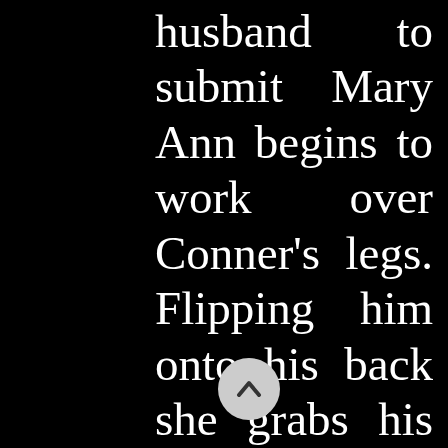husband to submit Mary Ann begins to work over Conner's legs. Flipping him onto his back she grabs his boot and viciously twists his leg. Conner rolls from side to side tying to break her hold on him. He reaches up to his knee and grabs his leg in pain. Changing the h Mary Ann steps on one